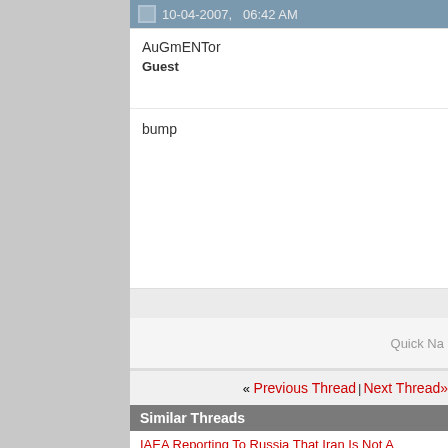10-04-2007,   06:42 AM
AuGmENTor
Guest
bump
Quick Na
« Previous Thread | Next Thread»
Similar Threads
IAEA Reporting To Russia That Iran Is Not A "Threat To Peace And...
By Gold9472 in forum The New News
Blair's Foreign Policy Is Now A Threat To National Security
By Gold9472 in forum The New News
The Bush Admin. Is A Threat To Our Nat. Security, You Need Look...
By Gold9472 in forum The New News